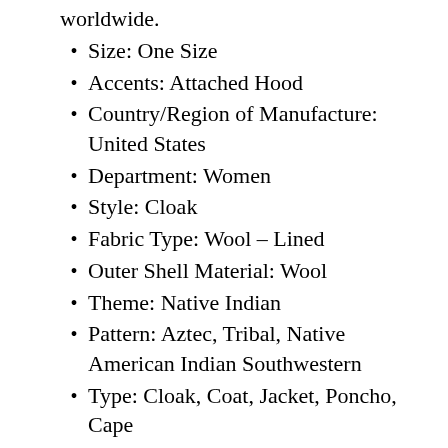worldwide.
Size: One Size
Accents: Attached Hood
Country/Region of Manufacture: United States
Department: Women
Style: Cloak
Fabric Type: Wool – Lined
Outer Shell Material: Wool
Theme: Native Indian
Pattern: Aztec, Tribal, Native American Indian Southwestern
Type: Cloak, Coat, Jacket, Poncho, Cape
Features: Fall
Color: Multicolor, Beige, Red, Yellow, Green
Closure: Hook & Loop